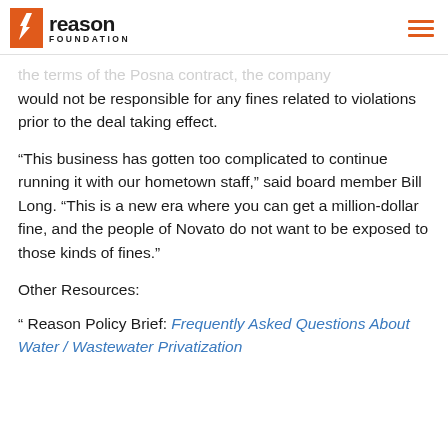Reason Foundation
the terms of the Posna contract, the company would not be responsible for any fines related to violations prior to the deal taking effect.
“This business has gotten too complicated to continue running it with our hometown staff,” said board member Bill Long. “This is a new era where you can get a million-dollar fine, and the people of Novato do not want to be exposed to those kinds of fines.”
Other Resources:
“ Reason Policy Brief: Frequently Asked Questions About Water / Wastewater Privatization